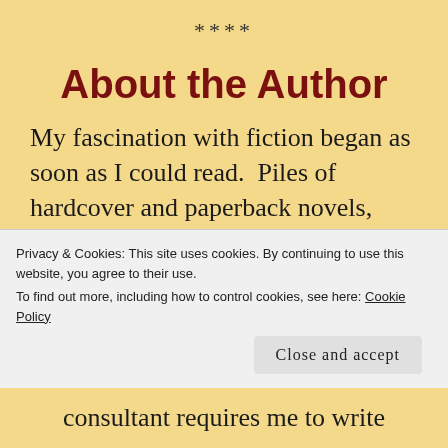****
About the Author
My fascination with fiction began as soon as I could read.  Piles of hardcover and paperback novels, mysteries, science fiction and fantasy and Shakespearean plays
Privacy & Cookies: This site uses cookies. By continuing to use this website, you agree to their use.
To find out more, including how to control cookies, see here: Cookie Policy
Close and accept
consultant requires me to write